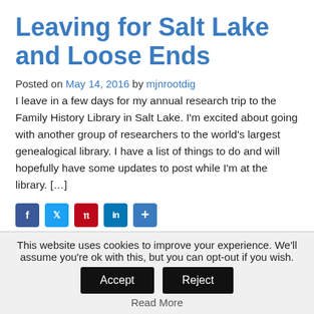Leaving for Salt Lake and Loose Ends
Posted on May 14, 2016 by mjnrootdig
I leave in a few days for my annual research trip to the Family History Library in Salt Lake. I'm excited about going with another group of researchers to the world's largest genealogical library. I have a list of things to do and will hopefully have some updates to post while I'm at the library. […]
[Figure (infographic): Social media share buttons: Facebook, Twitter, Pinterest, LinkedIn, and a plus/more button]
Posted in Uncategorized 3 Comments
Is There a Pair that
This website uses cookies to improve your experience. We'll assume you're ok with this, but you can opt-out if you wish. Accept Reject Read More